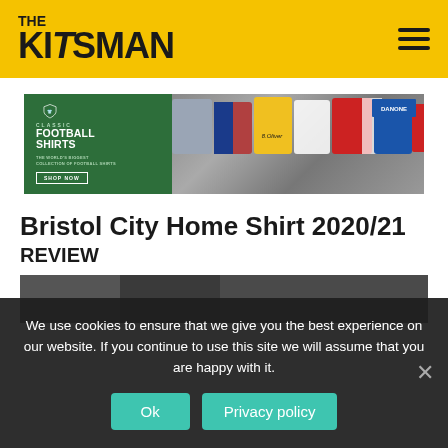THE KITSMAN
[Figure (other): Classic Football Shirts advertisement banner showing multiple vintage football shirts]
Bristol City Home Shirt 2020/21
REVIEW
[Figure (photo): Partial view of Bristol City shirt article image, obscured by cookie banner]
We use cookies to ensure that we give you the best experience on our website. If you continue to use this site we will assume that you are happy with it.